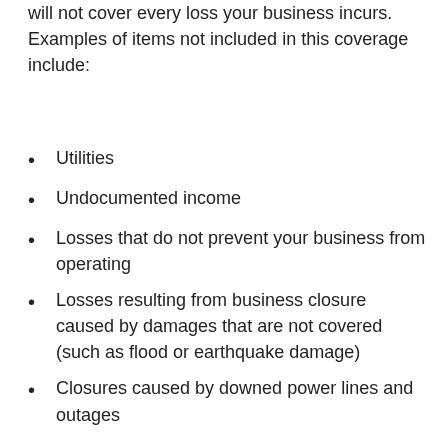will not cover every loss your business incurs. Examples of items not included in this coverage include:
Utilities
Undocumented income
Losses that do not prevent your business from operating
Losses resulting from business closure caused by damages that are not covered (such as flood or earthquake damage)
Closures caused by downed power lines and outages